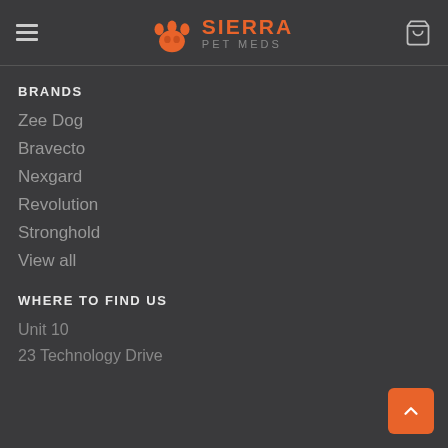Sierra Pet Meds
BRANDS
Zee Dog
Bravecto
Nexgard
Revolution
Stronghold
View all
WHERE TO FIND US
Unit 10
23 Technology Drive